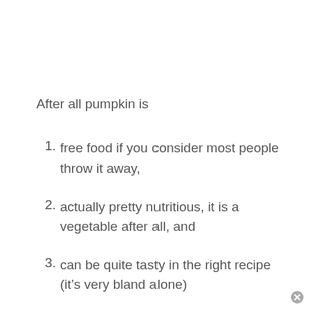After all pumpkin is
free food if you consider most people throw it away,
actually pretty nutritious, it is a vegetable after all, and
can be quite tasty in the right recipe (it’s very bland alone)